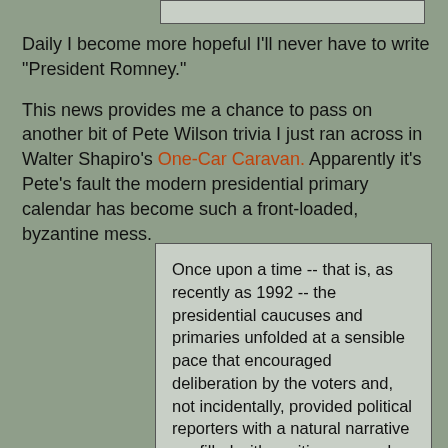[Figure (other): Gray box at top of page, partially visible]
Daily I become more hopeful I'll never have to write "President Romney."
This news provides me a chance to pass on another bit of Pete Wilson trivia I just ran across in Walter Shapiro's One-Car Caravan. Apparently it's Pete's fault the modern presidential primary calendar has become such a front-loaded, byzantine mess.
Once upon a time -- that is, as recently as 1992 -- the presidential caucuses and primaries unfolded at a sensible pace that encouraged deliberation by the voters and, not incidentally, provided political reporters with a natural narrative arc filled with exciting reversals of fortune and dramatic comebacks. Back then, February belonged to Iowa and New Hampshire, which winnowed the field; the cluster of southern primaries in